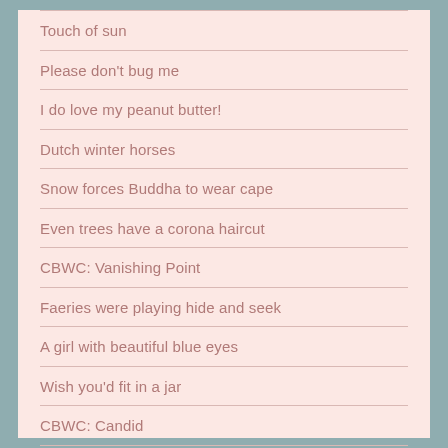Touch of sun
Please don't bug me
I do love my peanut butter!
Dutch winter horses
Snow forces Buddha to wear cape
Even trees have a corona haircut
CBWC: Vanishing Point
Faeries were playing hide and seek
A girl with beautiful blue eyes
Wish you'd fit in a jar
CBWC: Candid